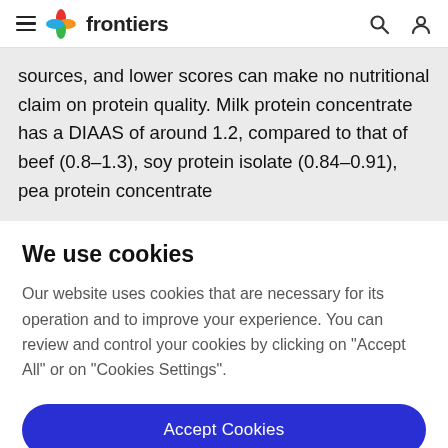≡  frontiers  [search icon] [user icon]
sources, and lower scores can make no nutritional claim on protein quality. Milk protein concentrate has a DIAAS of around 1.2, compared to that of beef (0.8–1.3), soy protein isolate (0.84–0.91), pea protein concentrate
We use cookies
Our website uses cookies that are necessary for its operation and to improve your experience. You can review and control your cookies by clicking on "Accept All" or on "Cookies Settings".
Accept Cookies
Cookies Settings